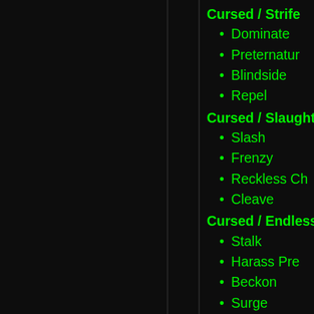Cursed / Strife
Dominate
Preternatural
Blindside
Repel
Cursed / Slaughter
Slash
Frenzy
Reckless Ch...
Cleave
Cursed / Endless
Stalk
Harass Prey
Beckon
Surge
Cursed / Predator
Predator
Savage Hunt